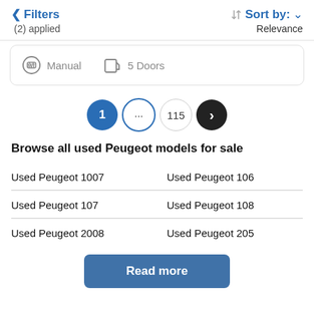< Filters
(2) applied
Sort by: Relevance
Manual   5 Doors
[Figure (other): Pagination row with buttons: 1 (active blue), ... (blue outline), 115 (grey outline), > (dark next)]
Browse all used Peugeot models for sale
Used Peugeot 1007
Used Peugeot 106
Used Peugeot 107
Used Peugeot 108
Used Peugeot 2008
Used Peugeot 205
Read more